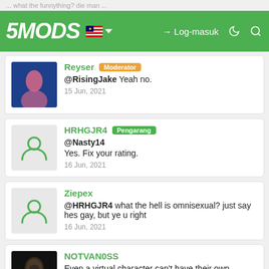5MODS — Log-masuk
Reyser Moderator @RisingJake Yeah no. 15 Jun, 2021
HRHGJR4 Pengarang @Nasty14 Yes. Fix your rating. 16 Jun, 2021
Ziepex @HRHGJR4 what the hell is omnisexual? just say hes gay, but ye u right 16 Jun, 2021
NOTVAN0SS Even a virtual character can't have their own gender without people fighting over it lmao